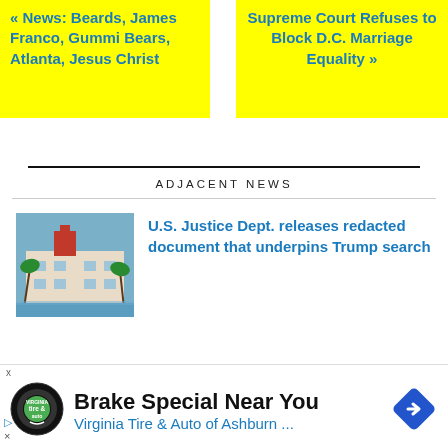« News: Beards, James Franco, Gummi Bears, Atlanta, Jesus Christ
Supreme Court Refuses to Block D.C. Marriage Equality »
ADJACENT NEWS
[Figure (photo): Thumbnail image of a building with palm trees, likely Mar-a-Lago]
U.S. Justice Dept. releases redacted document that underpins Trump search
Brake Special Near You
Virginia Tire & Auto of Ashburn ...